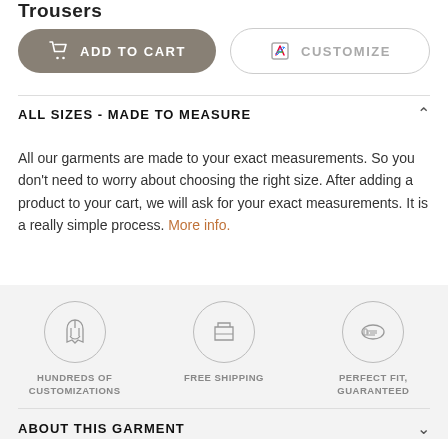Trousers
[Figure (other): ADD TO CART button (grey pill-shaped) and CUSTOMIZE button (outlined pill-shaped) side by side]
ALL SIZES - MADE TO MEASURE
All our garments are made to your exact measurements. So you don't need to worry about choosing the right size. After adding a product to your cart, we will ask for your exact measurements. It is a really simple process. More info.
[Figure (infographic): Three circular icons: a suit/garment icon labeled HUNDREDS OF CUSTOMIZATIONS, a box icon labeled FREE SHIPPING, and a measuring tape icon labeled PERFECT FIT, GUARANTEED]
ABOUT THIS GARMENT